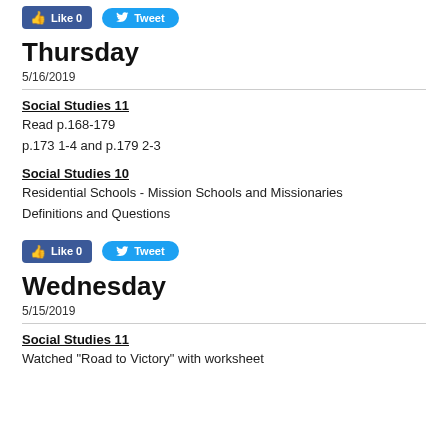[Figure (other): Facebook Like 0 and Twitter Tweet buttons at top]
Thursday
5/16/2019
Social Studies 11
Read p.168-179
p.173 1-4 and p.179 2-3
Social Studies 10
Residential Schools - Mission Schools and Missionaries
Definitions and Questions
[Figure (other): Facebook Like 0 and Twitter Tweet buttons]
Wednesday
5/15/2019
Social Studies 11
Watched "Road to Victory" with worksheet